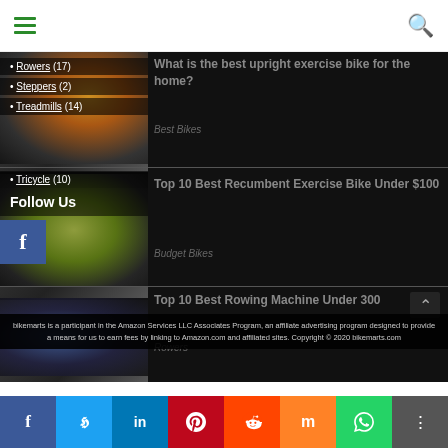≡  [search icon]
Rowers (17)
Steppers (2)
Treadmills (14)
Tricycle (10)
Follow Us
[Figure (photo): People on upright exercise bikes in a gym]
What is the best upright exercise bike for the home?
Best Bikes
[Figure (photo): Person using a recumbent exercise bike]
Top 10 Best Recumbent Exercise Bike Under $100
Budget Bikes
[Figure (photo): Man using a rowing machine]
Top 10 Best Rowing Machine Under 300
Rowers
bikemarts is a participant in the Amazon Services LLC Associates Program, an affiliate advertising program designed to provide a means for us to earn fees by linking to Amazon.com and affiliated sites. Copyright © 2020 bikemarts.com
f  Twitter  in  Pinterest  Reddit  Mix  WhatsApp  Share